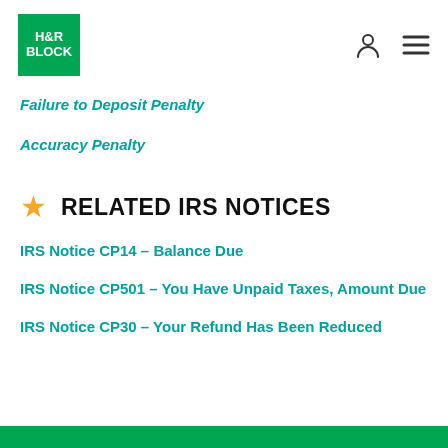[Figure (logo): H&R Block green square logo with white text]
Failure to Deposit Penalty
Accuracy Penalty
RELATED IRS NOTICES
IRS Notice CP14 – Balance Due
IRS Notice CP501 – You Have Unpaid Taxes, Amount Due
IRS Notice CP30 – Your Refund Has Been Reduced